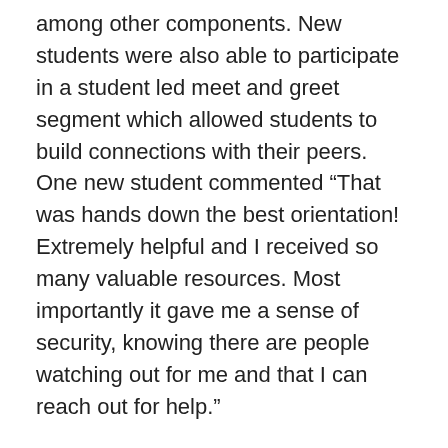among other components. New students were also able to participate in a student led meet and greet segment which allowed students to build connections with their peers. One new student commented “That was hands down the best orientation! Extremely helpful and I received so many valuable resources. Most importantly it gave me a sense of security, knowing there are people watching out for me and that I can reach out for help.”
“It’s so wonderful being able to watch our new students find ways to connect with one another.” stated OIS Director Elizabeth James, “We are extremely grateful to have all of our new students here as well as our returning students. Whether physically in Raleigh, enrolled abroad, or learning to